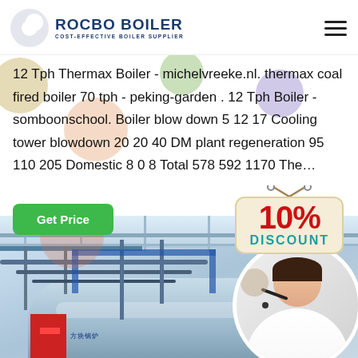[Figure (logo): Rocbo Boiler logo with crescent moon shape and text 'ROCBO BOILER - COST-EFFECTIVE BOILER SUPPLIER']
12 Tph Thermax Boiler - michelvreeke.nl. thermax coal fired boiler 70 tph - peking-garden . 12 Tph Boiler - somboonschool. Boiler blow down 5 12 17 Cooling tower blowdown 20 20 40 DM plant regeneration 95 110 205 Domestic 8 0 8 Total 578 592 1170 The...
[Figure (infographic): Green 'Get Price' button and a 10% DISCOUNT badge/sign with rope hanger on a cream background]
[Figure (photo): Industrial boiler room interior with large blue cylindrical boiler tanks, pipes, and scaffolding. Red boiler base visible. Rocbo logo watermark. Customer service representative (woman with headset, smiling) in circular frame on right side.]